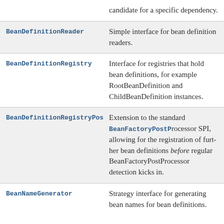| Interface | Description |
| --- | --- |
|  | candidate for a specific dependency. |
| BeanDefinitionReader | Simple interface for bean definition readers. |
| BeanDefinitionRegistry | Interface for registries that hold bean definitions, for example RootBeanDefinition and ChildBeanDefinition instances. |
| BeanDefinitionRegistryPostProcessor | Extension to the standard BeanFactoryPostProcessor SPI, allowing for the registration of further bean definitions before regular BeanFactoryPostProcessor detection kicks in. |
| BeanNameGenerator | Strategy interface for generating bean names for bean definitions. |